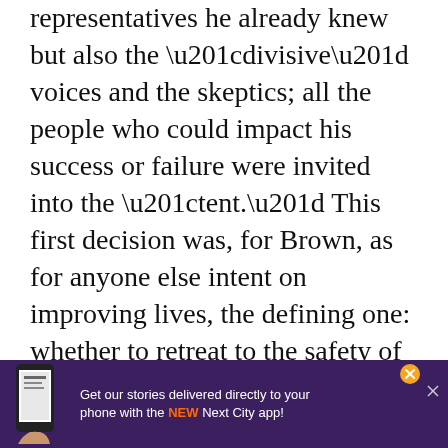representatives he already knew but also the “divisive” voices and the skeptics; all the people who could impact his success or failure were invited into the “tent.” This first decision was, for Brown, as for anyone else intent on improving lives, the defining one: whether to retreat to the safety of one’s own environment and confer with a like-minded expert team or venture into the unknown to ask questions and be willing to hear unanticipated, and often unwanted, answers. In social design, it’s important to first identify and then question all assumptions — in this case, the “way things are done,” or the common sense of the grocery business. It’s a matter of questioning your own and your industry’s beliefs and mental models instead of assuming that something or someone else is… make…
[Figure (other): Advertisement banner for Next City app. Purple background with phone graphic on left. Text: 'Get our stories delivered directly to your phone with the NEW Next City app!' Orange close button with X in top right.]